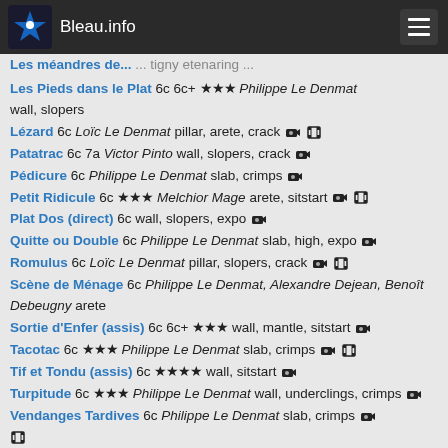Bleau.info
Les Pieds dans le Plat 6c 6c+ ★★★ Philippe Le Denmat wall, slopers
Lézard 6c Loïc Le Denmat pillar, arete, crack 📷 🎬
Patatrac 6c 7a Victor Pinto wall, slopers, crack 📷
Pédicure 6c Philippe Le Denmat slab, crimps 📷
Petit Ridicule 6c ★★★ Melchior Mage arete, sitstart 📷 🎬
Plat Dos (direct) 6c wall, slopers, expo 📷
Quitte ou Double 6c Philippe Le Denmat slab, high, expo 📷
Romulus 6c Loïc Le Denmat pillar, slopers, crack 📷 🎬
Scène de Ménage 6c Philippe Le Denmat, Alexandre Dejean, Benoît Debeugny arete
Sortie d'Enfer (assis) 6c 6c+ ★★★ wall, mantle, sitstart 📷
Tacotac 6c ★★★ Philippe Le Denmat slab, crimps 📷 🎬
Tif et Tondu (assis) 6c ★★★★ wall, sitstart 📷
Turpitude 6c ★★★ Philippe Le Denmat wall, underclings, crimps 📷
Vendanges Tardives 6c Philippe Le Denmat slab, crimps 📷 🎬
Virgule 6c ★★★★ wall, underclings, sitstart 📷 🎬